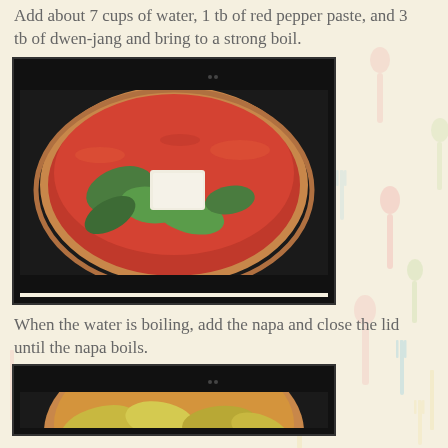Add about 7 cups of water, 1 tb of red pepper paste, and 3 tb of dwen-jang and bring to a strong boil.
[Figure (photo): A wide ceramic bowl filled with red spicy soup containing napa cabbage, greens, and tofu, seen from above on a dark background.]
When the water is boiling, add the napa and close the lid until the napa boils.
[Figure (photo): A bowl of soup with napa cabbage and other ingredients, partially visible at the bottom of the page.]